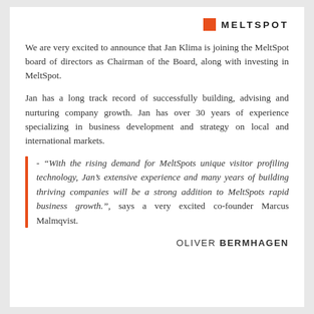MELTSPOT
We are very excited to announce that Jan Klima is joining the MeltSpot board of directors as Chairman of the Board, along with investing in MeltSpot.
Jan has a long track record of successfully building, advising and nurturing company growth. Jan has over 30 years of experience specializing in business development and strategy on local and international markets.
- “With the rising demand for MeltSpots unique visitor profiling technology, Jan’s extensive experience and many years of building thriving companies will be a strong addition to MeltSpots rapid business growth.”, says a very excited co-founder Marcus Malmqvist.
OLIVER BERMHAGEN